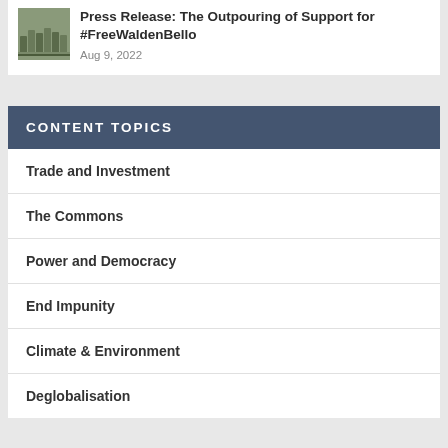Press Release: The Outpouring of Support for #FreeWaldenBello
Aug 9, 2022
CONTENT TOPICS
Trade and Investment
The Commons
Power and Democracy
End Impunity
Climate & Environment
Deglobalisation